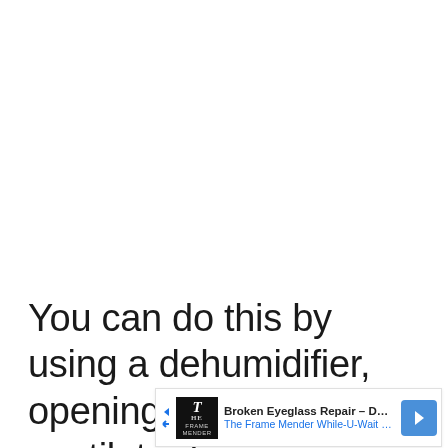You can do this by using a dehumidifier, opening windows to ventilate damp areas, and
[Figure (other): Advertisement banner for 'Broken Eyeglass Repair - DC/VA' by The Frame Mender While-U-Wait Ey..., with a black logo, blue navigation arrow icon, and blue link text.]